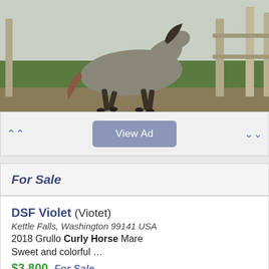[Figure (photo): A grey/grullo horse running/trotting in a green pasture with a wooden fence in the background]
View Ad
For Sale
DSF Violet (Viotet)
Kettle Falls, Washington 99141 USA
2018 Grullo Curly Horse Mare
Sweet and colorful …
$3,800  For Sale
Horse ID:  2229007
[Figure (photo): Partial view of a pinto/paint horse with black and white coloring, in a field with trees in background]